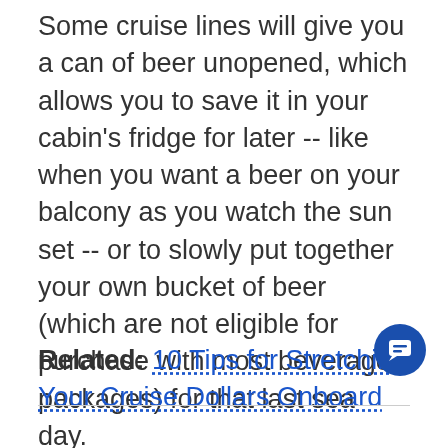Some cruise lines will give you a can of beer unopened, which allows you to save it in your cabin's fridge for later -- like when you want a beer on your balcony as you watch the sun set -- or to slowly put together your own bucket of beer (which are not eligible for purchase with most beverage packages) for that last sea day.
Related: 10 Tips for Stretching Your Cruise Dollars Onboard